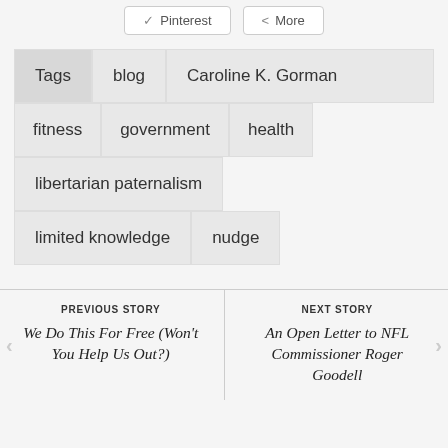Pinterest
More
Tags  blog  Caroline K. Gorman  fitness  government  health  libertarian paternalism  limited knowledge  nudge
PREVIOUS STORY
We Do This For Free (Won't You Help Us Out?)
NEXT STORY
An Open Letter to NFL Commissioner Roger Goodell